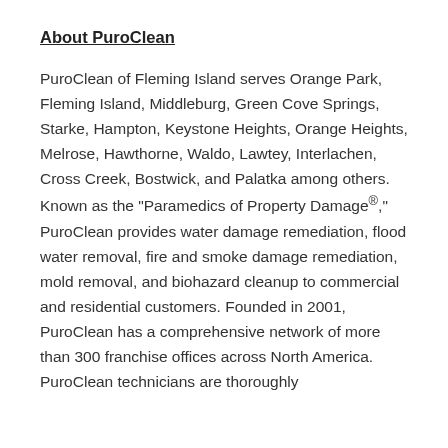About PuroClean
PuroClean of Fleming Island serves Orange Park, Fleming Island, Middleburg, Green Cove Springs, Starke, Hampton, Keystone Heights, Orange Heights, Melrose, Hawthorne, Waldo, Lawtey, Interlachen, Cross Creek, Bostwick, and Palatka among others. Known as the "Paramedics of Property Damage®," PuroClean provides water damage remediation, flood water removal, fire and smoke damage remediation, mold removal, and biohazard cleanup to commercial and residential customers. Founded in 2001, PuroClean has a comprehensive network of more than 300 franchise offices across North America. PuroClean technicians are thoroughly